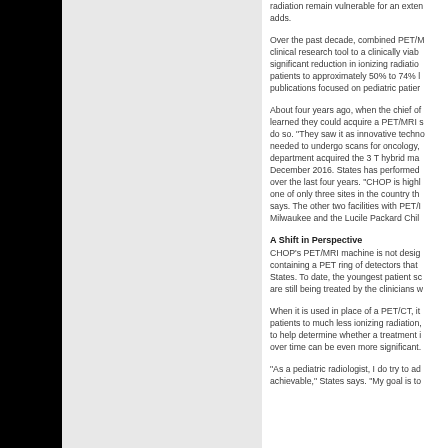radiation remain vulnerable for an extended period of time, he adds.
Over the past decade, combined PET/MRI has evolved from a clinical research tool to a clinically viable option. There has been significant reduction in ionizing radiation exposure in pediatric patients to approximately 50% to 74% lower than PET/CT, with publications focused on pediatric patients.
About four years ago, when the chief of nuclear medicine learned they could acquire a PET/MRI system, they decided to do so. "They saw it as innovative technology for children who needed to undergo scans for oncology," she says. The radiology department acquired the 3 T hybrid machine and started using it December 2016. States has performed more than 1,000 total scans over the last four years. "CHOP is highly specialized — we're one of only three sites in the country that have this," States says. The other two facilities with PET/MRI are in Children's Milwaukee and the Lucile Packard Children's Hospital.
A Shift in Perspective
CHOP's PET/MRI machine is not designed for adults. It is a bore containing a PET ring of detectors that is smaller than in the United States. To date, the youngest patient scanned was 3, and patients are still being treated by the clinicians who were there at the start.
When it is used in place of a PET/CT, it has the potential to expose patients to much less ionizing radiation, and it can be used serially to help determine whether a treatment is working. The benefit over time can be even more significant.
"As a pediatric radiologist, I do try to advocate for what is achievable," States says. "My goal is to